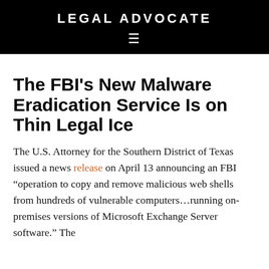LEGAL ADVOCATE
The FBI’s New Malware Eradication Service Is on Thin Legal Ice
The U.S. Attorney for the Southern District of Texas issued a news release on April 13 announcing an FBI “operation to copy and remove malicious web shells from hundreds of vulnerable computers…running on-premises versions of Microsoft Exchange Server software.” The